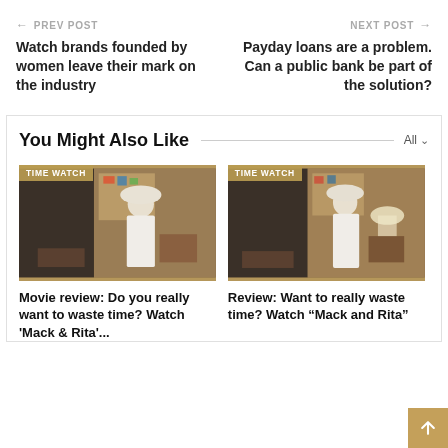← PREV POST
Watch brands founded by women leave their mark on the industry
NEXT POST →
Payday loans are a problem. Can a public bank be part of the solution?
You Might Also Like
[Figure (photo): Photo of woman in white outfit with hat indoors, tagged TIME WATCH]
Movie review: Do you really want to waste time? Watch 'Mack & Rita'...
[Figure (photo): Photo of woman in white outfit with hat indoors, tagged TIME WATCH]
Review: Want to really waste time? Watch "Mack and Rita"